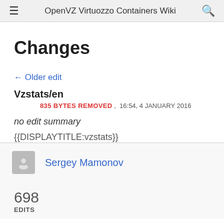OpenVZ Virtuozzo Containers Wiki
Changes
← Older edit
Vzstats/en
835 BYTES REMOVED , 16:54, 4 JANUARY 2016
no edit summary
{{DISPLAYTITLE:vzstats}}
Sergey Mamonov
698
EDITS